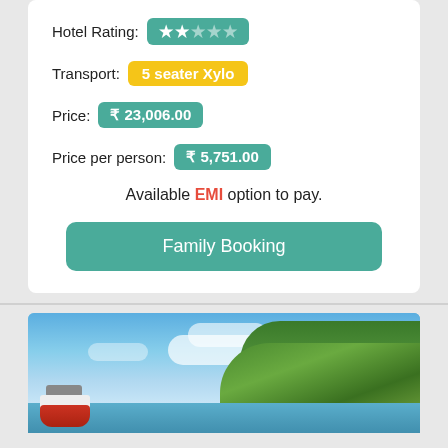Hotel Rating: ★★☆☆☆
Transport: 5 seater Xylo
Price: ₹ 23,006.00
Price per person: ₹ 5,751.00
Available EMI option to pay.
Family Booking
[Figure (photo): Coastal landscape photo with blue sky, clouds, green hillside with palm trees on the right, water in foreground, and a red-and-white boat on the left.]